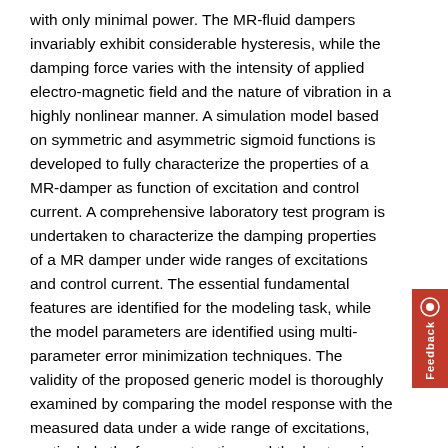with only minimal power. The MR-fluid dampers invariably exhibit considerable hysteresis, while the damping force varies with the intensity of applied electro-magnetic field and the nature of vibration in a highly nonlinear manner. A simulation model based on symmetric and asymmetric sigmoid functions is developed to fully characterize the properties of a MR-damper as function of excitation and control current. A comprehensive laboratory test program is undertaken to characterize the damping properties of a MR damper under wide ranges of excitations and control current. The essential fundamental features are identified for the modeling task, while the model parameters are identified using multi-parameter error minimization techniques. The validity of the proposed generic model is thoroughly examined by comparing the model response with the measured data under a wide range of excitations, particularly the force saturation and the hysteresis behaviour. An independent current function is further derived that could be integrated to reported regression-based hysteresis models to enhance their prediction abilities. From the results of the study, it is concluded that the refined Bouc-Wen and the proposed generalized sigmoid function model ca